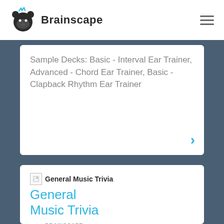Brainscape
Sample Decks: Basic - Interval Ear Trainer, Advanced - Chord Ear Trainer, Basic - Clapback Rhythm Ear Trainer
[Figure (screenshot): General Music Trivia card with image placeholder and title]
General Music Trivia
BRAINSCAPE CERTIFIED CLASS